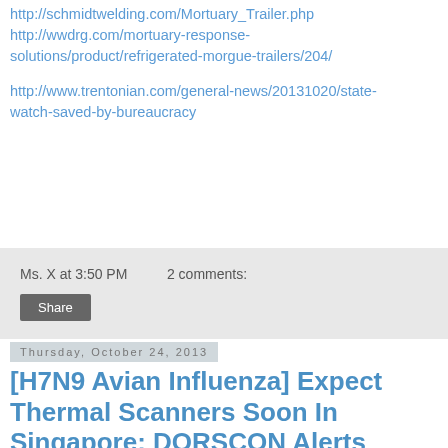http://schmidtwelding.com/Mortuary_Trailer.php
http://wwdrg.com/mortuary-response-solutions/product/refrigerated-morgue-trailers/204/
http://www.trentonian.com/general-news/20131020/state-watch-saved-by-bureaucracy
Ms. X at 3:50 PM    2 comments:
Share
Thursday, October 24, 2013
[H7N9 Avian Influenza] Expect Thermal Scanners Soon In Singapore: DORSCON Alerts Updated